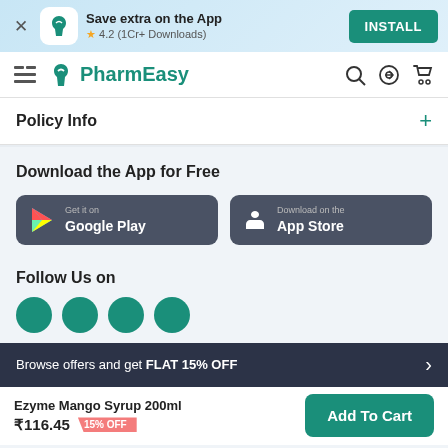Save extra on the App | 4.2 (1Cr+ Downloads) | INSTALL
PharmEasy
Policy Info
Download the App for Free
Get it on Google Play
Download on the App Store
Follow Us on
Browse offers and get FLAT 15% OFF
Ezyme Mango Syrup 200ml ₹116.45 15% OFF
Add To Cart